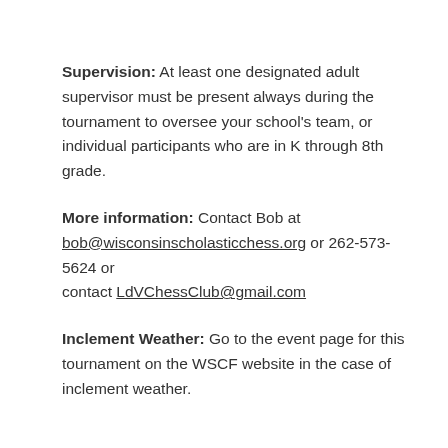Supervision: At least one designated adult supervisor must be present always during the tournament to oversee your school's team, or individual participants who are in K through 8th grade.
More information: Contact Bob at bob@wisconsinscholasticchess.org or 262-573-5624 or contact LdVChessClub@gmail.com
Inclement Weather: Go to the event page for this tournament on the WSCF website in the case of inclement weather.